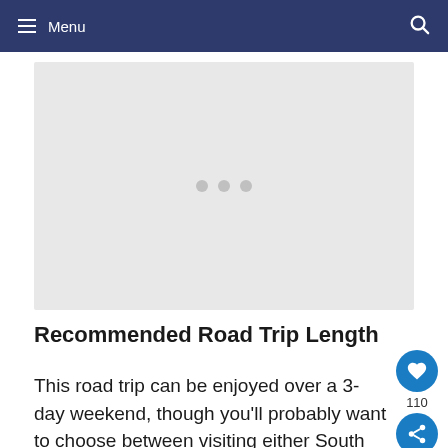Menu
[Figure (other): Gray placeholder image area with three gray dots centered, representing a loading or empty image carousel]
Recommended Road Trip Length
This road trip can be enjoyed over a 3-day weekend, though you'll probably want to choose between visiting either South Padre or...